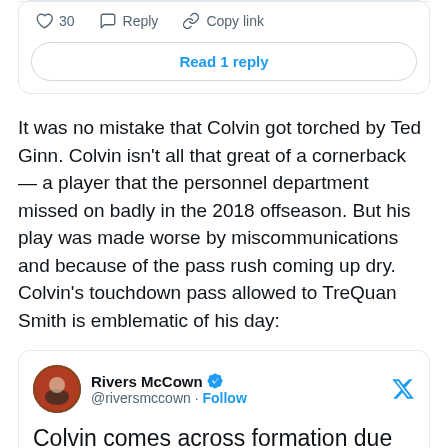[Figure (screenshot): Top of tweet card showing like count (30), Reply, Copy link actions and a 'Read 1 reply' button]
It was no mistake that Colvin got torched by Ted Ginn. Colvin isn't all that great of a cornerback — a player that the personnel department missed on badly in the 2018 offseason. But his play was made worse by miscommunications and because of the pass rush coming up dry. Colvin's touchdown pass allowed to TreQuan Smith is emblematic of his day:
[Figure (screenshot): Embedded tweet by Rivers McCown (@riversmccown) with verified badge and Follow link, Twitter bird logo top right, tweet text beginning: 'Colvin comes across formation due to preснap movement, deep safety reads']